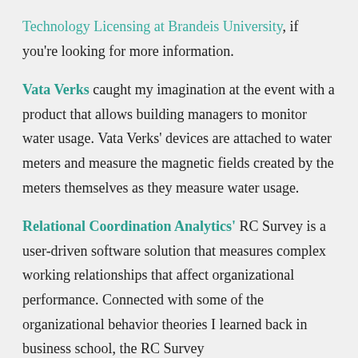Technology Licensing at Brandeis University, if you're looking for more information.
Vata Verks caught my imagination at the event with a product that allows building managers to monitor water usage. Vata Verks' devices are attached to water meters and measure the magnetic fields created by the meters themselves as they measure water usage.
Relational Coordination Analytics' RC Survey is a user-driven software solution that measures complex working relationships that affect organizational performance. Connected with some of the organizational behavior theories I learned back in business school, the RC Survey